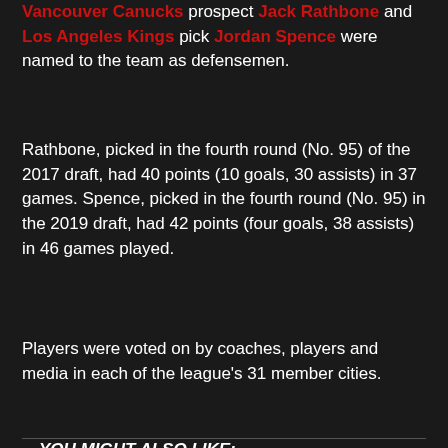Vancouver Canucks prospect Jack Rathbone and Los Angeles Kings pick Jordan Spence were named to the team as defensemen.
Rathbone, picked in the fourth round (No. 95) of the 2017 draft, had 40 points (10 goals, 30 assists) in 37 games. Spence, picked in the fourth round (No. 95) in the 2019 draft, had 42 points (four goals, 38 assists) in 46 games played.
Players were voted on by coaches, players and media in each of the league's 31 member cities.
YOU MIGHT ALSO LIKE:
PROSPECT SPOTLIGHT: LUKAS REICHEL IS A SWISS ARMY KNIFE OF A PROSPECT